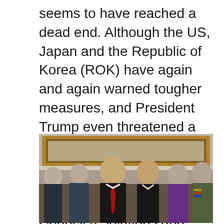seems to have reached a dead end. Although the US, Japan and the Republic of Korea (ROK) have again and again warned tougher measures, and President Trump even threatened a “military option” against the DPRK, Pyongyang did not give in. It has repeatedly ignored the UN Security Council resolutions and sanctions by conducting several nuclear and missile tests. The US has blamed China for not doing enough to stop DPRK’s nuclear program.
[Figure (photo): Group photo of President Trump with a red tie, Melania Trump, military officials, and other individuals standing in what appears to be the White House with a gold-framed painting visible in the background.]